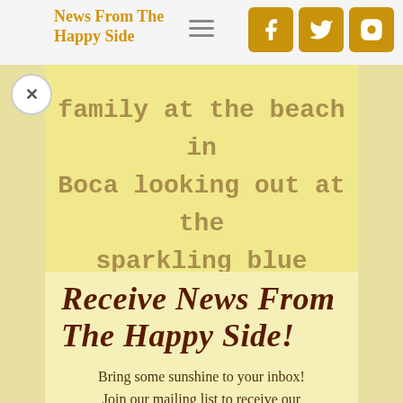News From The Happy Side
[Figure (photo): Faded photograph overlay with handwritten-style text visible in the background, showing a beach scene]
Receive News From The Happy Side!
Bring some sunshine to your inbox! Join our mailing list to receive our bimonthly newsletter and be part of the News From the Happy Side community.